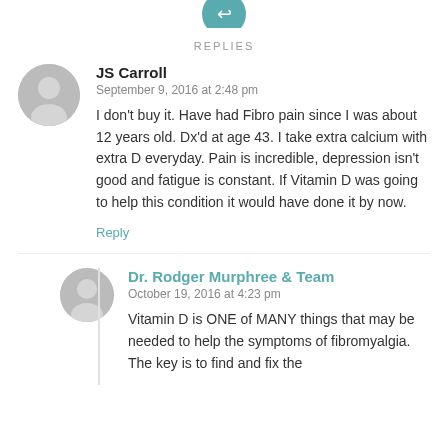[Figure (illustration): Teal circular avatar/icon at top for replies section]
REPLIES
[Figure (illustration): Gray circular avatar for JS Carroll]
JS Carroll
September 9, 2016 at 2:48 pm
I don't buy it. Have had Fibro pain since I was about 12 years old. Dx'd at age 43. I take extra calcium with extra D everyday. Pain is incredible, depression isn't good and fatigue is constant. If Vitamin D was going to help this condition it would have done it by now.
Reply
[Figure (illustration): Gray circular avatar for Dr. Rodger Murphree & Team]
Dr. Rodger Murphree & Team
October 19, 2016 at 4:23 pm
Vitamin D is ONE of MANY things that may be needed to help the symptoms of fibromyalgia. The key is to find and fix the